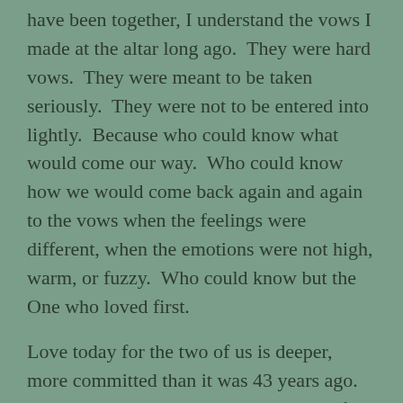have been together, I understand the vows I made at the altar long ago. They were hard vows. They were meant to be taken seriously. They were not to be entered into lightly. Because who could know what would come our way. Who could know how we would come back again and again to the vows when the feelings were different, when the emotions were not high, warm, or fuzzy. Who could know but the One who loved first.
Love today for the two of us is deeper, more committed than it was 43 years ago. It is not swayed by the changing tides of our feelings. It is long lasting because we have endured together, rejoiced together, cried together, suffered together, prayed together, lived life together with all of it's joys and heartaches.